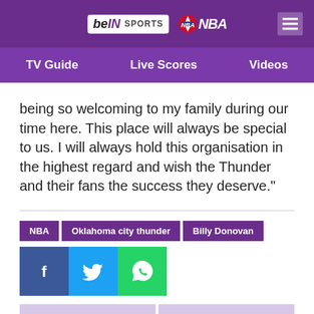beIN SPORTS | NBA
TV Guide | Live Scores | Videos
being so welcoming to my family during our time here. This place will always be special to us. I will always hold this organisation in the highest regard and wish the Thunder and their fans the success they deserve."
NBA
Oklahoma city thunder
Billy Donovan
[Figure (other): Social share buttons: Facebook, Twitter, WhatsApp]
[Figure (other): Related article thumbnail: Nuggets coach Malone responds to Beverley's comments on Jokic]
[Figure (other): Related article thumbnail: Giannis wanted to play, but we couldn't risk him - Bucks coach Budenholzer]